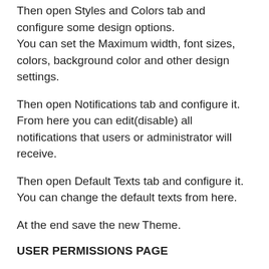Then open Styles and Colors tab and configure some design options.
You can set the Maximum width, font sizes, colors, background color and other design settings.
Then open Notifications tab and configure it.
From here you can edit(disable) all notifications that users or administrator will receive.
Then open Default Texts tab and configure it.
You can change the default texts from here.
At the end save the new Theme.
USER PERMISSIONS PAGE
On this page you can set your users permissions.
You can change users permission for our plugin all pages.
For example if you set user permission for Forms